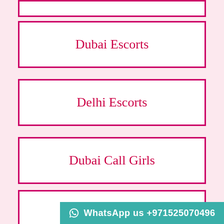Dubai Escorts
Delhi Escorts
Dubai Call Girls
Bur Dubai Escorts
WhatsApp us +971525070496